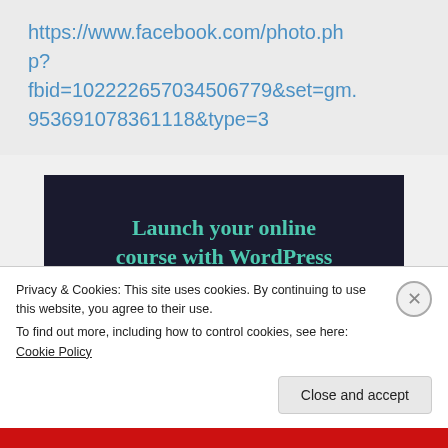https://www.facebook.com/photo.php?fbid=102222657034506798&set=gm.953691078361118&type=3
[Figure (infographic): Dark navy advertisement banner reading 'Launch your online course with WordPress' with a teal 'Learn More' button]
Privacy & Cookies: This site uses cookies. By continuing to use this website, you agree to their use.
To find out more, including how to control cookies, see here: Cookie Policy
Close and accept